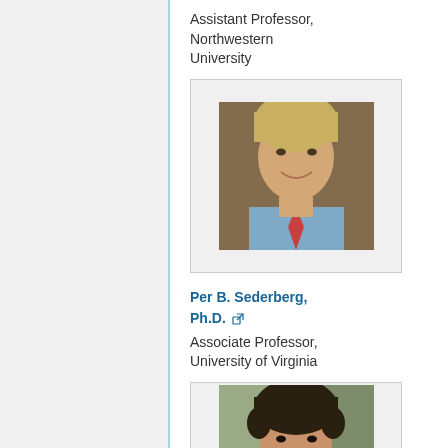Assistant Professor, Northwestern University
[Figure (photo): Headshot of a man in a blue shirt and red tie, smiling, with trees in background]
Per B. Sederberg, Ph.D.
Associate Professor, University of Virginia
[Figure (photo): Headshot of a man with dark curly hair and beard, wearing a red patterned shirt]